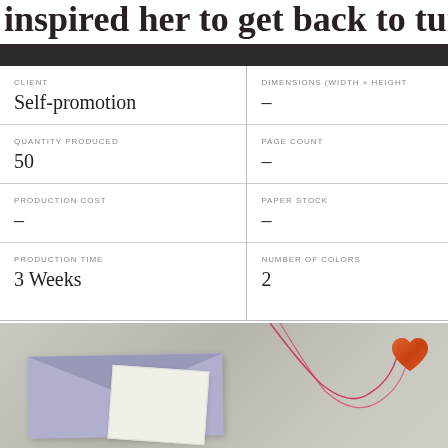inspired her to get back to turning the c
| Field | Value |
| --- | --- |
| CLIENT | Self-promotion |
| DIMENSIONS (WIDTH × HEIGHT | — |
| QUANTITY PRODUCED | 50 |
| PAGE COUNT | — |
| PRODUCTION COST | — |
| PAPER STOCK | — |
| PRODUCTION TIME | 3 Weeks |
| NUMBER OF COLORS | 2 |
[Figure (photo): A photo of a light blue envelope with a red string/twine and a glittery orange-red heart ornament hanging from it, placed on a neutral gray-beige surface.]